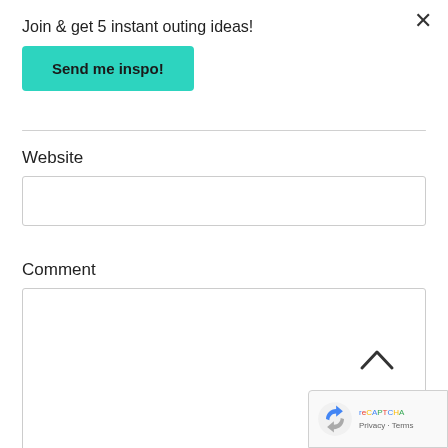Join & get 5 instant outing ideas!
Send me inspo!
Website
Comment
[Figure (other): reCAPTCHA badge with Google logo and Privacy - Terms text]
Privacy · Terms